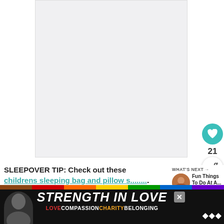[Figure (photo): Large light gray image placeholder area occupying the top portion of the page]
SLEEPOVER TIP: Check out these childrens sleeping bag and pillow ...
[Figure (photo): What's Next thumbnail showing a couple, with text 'Fun Things To Do At A...']
[Figure (infographic): Advertisement banner: STRENGTH IN LOVE with rainbow bar and sub-text LOVE COMPASSION CHARITY BELONGING]